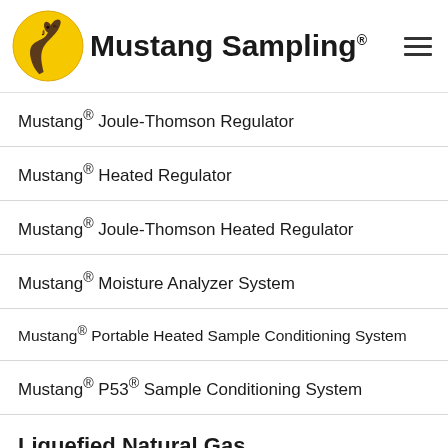[Figure (logo): Mustang Sampling logo with yellow circle containing a horse head illustration and bold text 'Mustang Sampling' with registered trademark symbol]
Mustang® Joule-Thomson Regulator
Mustang® Heated Regulator
Mustang® Joule-Thomson Heated Regulator
Mustang® Moisture Analyzer System
Mustang® Portable Heated Sample Conditioning System
Mustang® P53® Sample Conditioning System
Liquefied Natural Gas